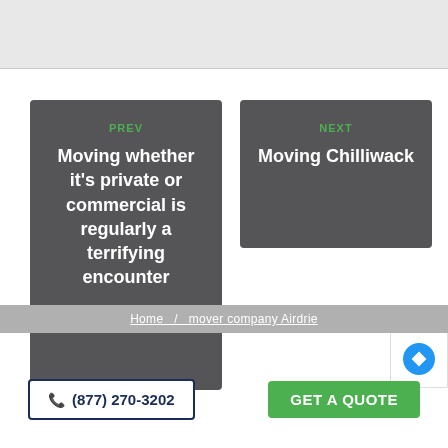[Figure (screenshot): Map area bar at top of page, light grey background]
PREV
Moving whether it's private or commercial is regularly a terrifying encounter
NEXT
Moving Chilliwack
Home / mover company Airdrie
(877) 270-3202
GET A QUOTE